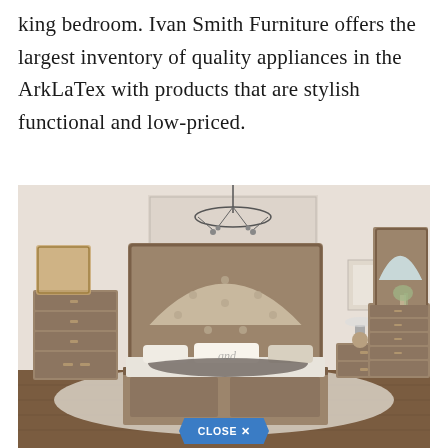king bedroom. Ivan Smith Furniture offers the largest inventory of quality appliances in the ArkLaTex with products that are stylish functional and low-priced.
[Figure (photo): Photo of a king bedroom furniture set in a rustic farmhouse style, featuring a tufted upholstered headboard bed with wood frame, matching chest of drawers, nightstand, and large dresser with arched mirror. Room has a chandelier and decorative wall art. A 'CLOSE X' button appears at the bottom center.]